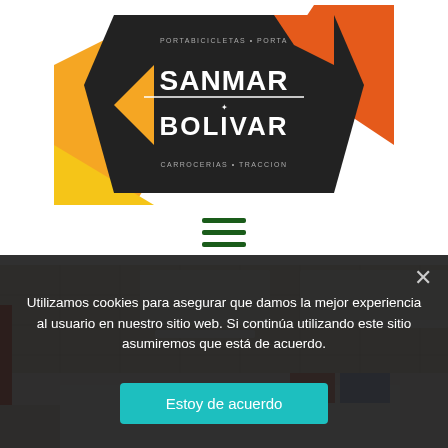[Figure (logo): SANMAR BOLIVAR logo — dark polygon background with orange/yellow geometric shapes and white text reading SANMAR BOLIVAR with taglines PORTABICICLETAS, CARROCERIAS, TRACCION and similar]
[Figure (other): Hamburger menu icon — three horizontal dark green bars]
[Figure (photo): Interior of an industrial workshop/garage with drop ceiling with fluorescent lighting, red pipe column on left, white vehicle/machinery parts visible in the lower portion]
Utilizamos cookies para asegurar que damos la mejor experiencia al usuario en nuestro sitio web. Si continúa utilizando este sitio asumiremos que está de acuerdo.
Estoy de acuerdo